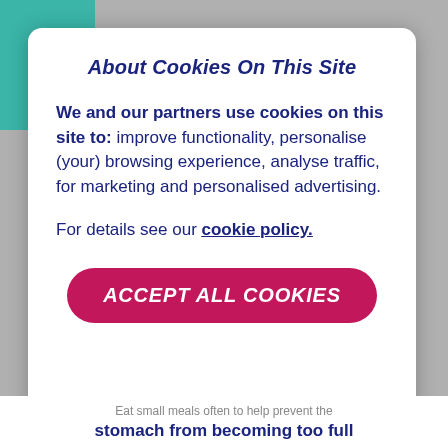About Cookies On This Site
We and our partners use cookies on this site to: improve functionality, personalise (your) browsing experience, analyse traffic, for marketing and personalised advertising.
For details see our cookie policy.
ACCEPT ALL COOKIES
stomach from becoming too full